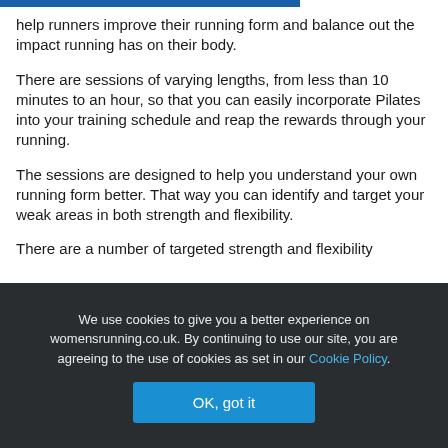help runners improve their running form and balance out the impact running has on their body.
There are sessions of varying lengths, from less than 10 minutes to an hour, so that you can easily incorporate Pilates into your training schedule and reap the rewards through your running.
The sessions are designed to help you understand your own running form better. That way you can identify and target your weak areas in both strength and flexibility.
There are a number of targeted strength and flexibility
We use cookies to give you a better experience on womensrunning.co.uk. By continuing to use our site, you are agreeing to the use of cookies as set in our Cookie Policy.